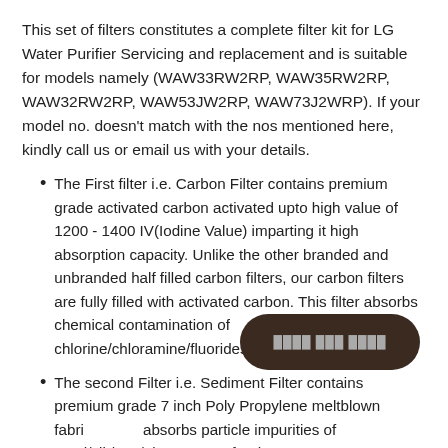This set of filters constitutes a complete filter kit for LG Water Purifier Servicing and replacement and is suitable for models namely (WAW33RW2RP, WAW35RW2RP, WAW32RW2RP, WAW53JW2RP, WAW73J2WRP). If your model no. doesn't match with the nos mentioned here, kindly call us or email us with your details.
The First filter i.e. Carbon Filter contains premium grade activated carbon activated upto high value of 1200 - 1400 IV(Iodine Value) imparting it high absorption capacity. Unlike the other branded and unbranded half filled carbon filters, our carbon filters are fully filled with activated carbon. This filter absorbs chemical contamination of chlorine/chloramine/fluorides.
The second Filter i.e. Sediment Filter contains premium grade 7 inch Poly Propylene meltblown fabric and absorbs particle impurities of sand/silt/rust/algae from feed water.
The third Filter...